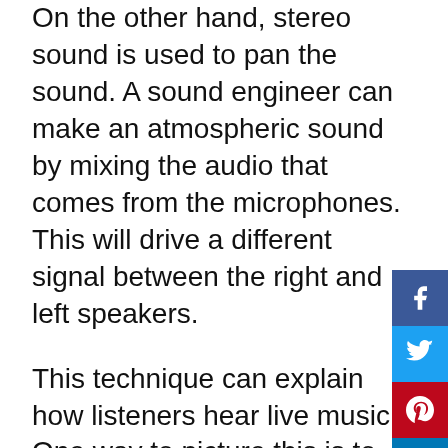On the other hand, stereo sound is used to pan the sound. A sound engineer can make an atmospheric sound by mixing the audio that comes from the microphones. This will drive a different signal between the right and left speakers.
This technique can explain how listeners hear live music. One way to picture this is to picture an orchestra recording with different stereo mics placed in different hall areas.